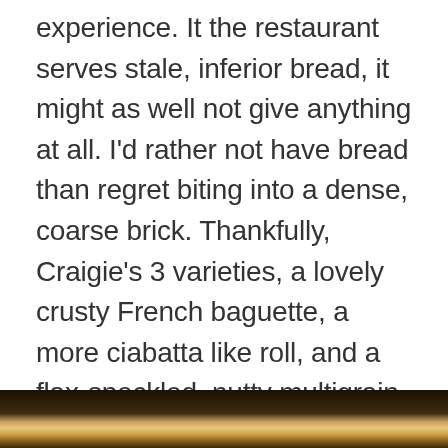experience. It the restaurant serves stale, inferior bread, it might as well not give anything at all. I'd rather not have bread than regret biting into a dense, coarse brick. Thankfully, Craigie's 3 varieties, a lovely crusty French baguette, a more ciabatta like roll, and a flax-speckled, nutty multigrain, were all fabulous. My favorite was the multigrain with flax for its depth of flavor, though you can't go wrong with the other two.
[Figure (photo): Dark photograph strip at the bottom of the page, showing what appears to be a food or restaurant scene with warm golden tones.]